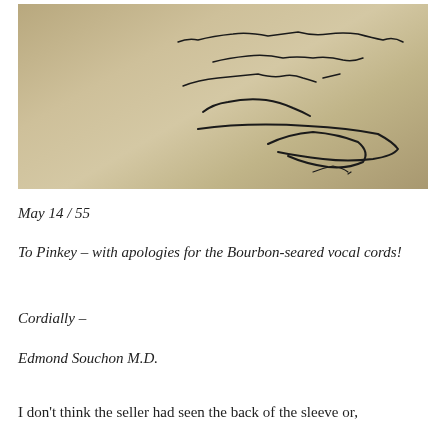[Figure (photo): Photograph of a handwritten inscription on the back of a record sleeve, showing cursive handwriting in ink on a cream/tan background. The text reads approximately: '...with apologies for the Bourbon-seared vocal cords! Cordially – Edmond Souchon M.D.']
May 14 / 55
To Pinkey – with apologies for the Bourbon-seared vocal cords!
Cordially –
Edmond Souchon M.D.
I don't think the seller had seen the back of the sleeve or,